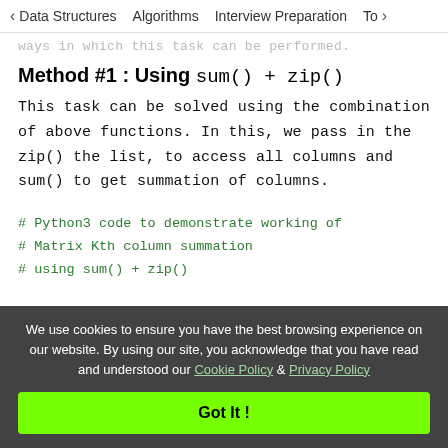< Data Structures   Algorithms   Interview Preparation   To>
ways in which this task can be performed.
Method #1 : Using sum() + zip()
This task can be solved using the combination of above functions. In this, we pass in the zip() the list, to access all columns and sum() to get summation of columns.
# Python3 code to demonstrate working of
# Matrix Kth column summation
# using sum() + zip()

# initialize list
We use cookies to ensure you have the best browsing experience on our website. By using our site, you acknowledge that you have read and understood our Cookie Policy & Privacy Policy
Got It !